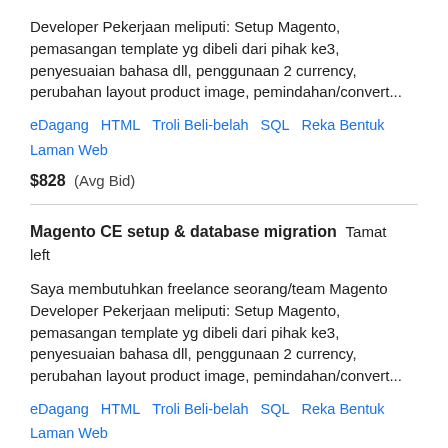Developer Pekerjaan meliputi: Setup Magento, pemasangan template yg dibeli dari pihak ke3, penyesuaian bahasa dll, penggunaan 2 currency, perubahan layout product image, pemindahan/convert...
eDagang   HTML   Troli Beli-belah   SQL   Reka Bentuk Laman Web
$828  (Avg Bid)
Magento CE setup & database migration   Tamat left
Saya membutuhkan freelance seorang/team Magento Developer Pekerjaan meliputi: Setup Magento, pemasangan template yg dibeli dari pihak ke3, penyesuaian bahasa dll, penggunaan 2 currency, perubahan layout product image, pemindahan/convert...
eDagang   HTML   Troli Beli-belah   SQL   Reka Bentuk Laman Web